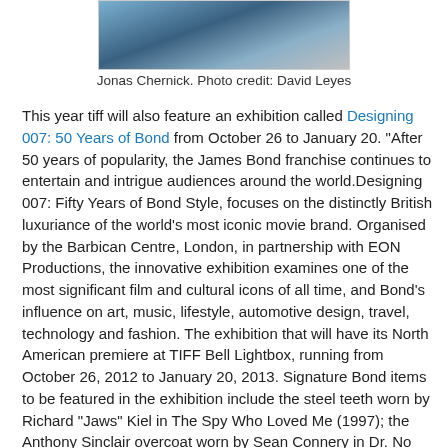[Figure (photo): Partial photo of Jonas Chernick, cropped at top of page]
Jonas Chernick. Photo credit: David Leyes
This year tiff will also feature an exhibition called Designing 007: 50 Years of Bond from October 26 to January 20. "After 50 years of popularity, the James Bond franchise continues to entertain and intrigue audiences around the world.Designing 007: Fifty Years of Bond Style, focuses on the distinctly British luxuriance of the world’s most iconic movie brand. Organised by the Barbican Centre, London, in partnership with EON Productions, the innovative exhibition examines one of the most significant film and cultural icons of all time, and Bond’s influence on art, music, lifestyle, automotive design, travel, technology and fashion. The exhibition that will have its North American premiere at TIFF Bell Lightbox, running from October 26, 2012 to January 20, 2013. Signature Bond items to be featured in the exhibition include the steel teeth worn by Richard “Jaws” Kiel in The Spy Who Loved Me (1997); the Anthony Sinclair overcoat worn by Sean Connery in Dr. No (1962); the poker table from Casino Royale (2006); and multiple shots from a Bond...